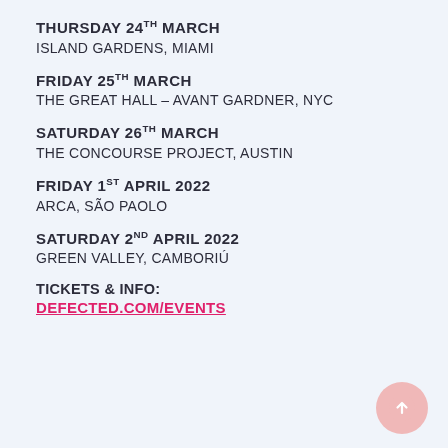THURSDAY 24TH MARCH
ISLAND GARDENS, MIAMI
FRIDAY 25TH MARCH
THE GREAT HALL – AVANT GARDNER, NYC
SATURDAY 26TH MARCH
THE CONCOURSE PROJECT, AUSTIN
FRIDAY 1ST APRIL 2022
ARCA, SÃO PAOLO
SATURDAY 2ND APRIL 2022
GREEN VALLEY, CAMBORIÚ
TICKETS & INFO:
DEFECTED.COM/EVENTS